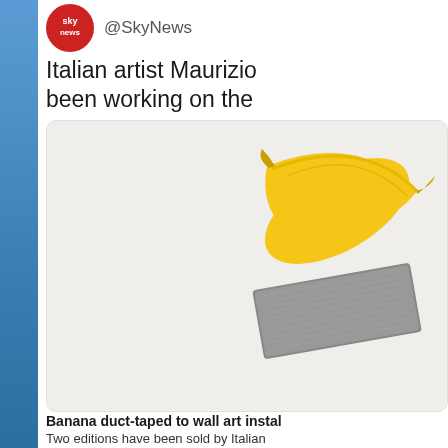[Figure (logo): Sky News red circular logo]
@SkyNews
Italian artist Maurizio... been working on the...
[Figure (photo): A banana duct-taped to a wall, artistic installation photo on light beige background]
Banana duct-taped to wall art instal...
Two editions have been sold by Italian... third edition reportedly raised to £150...